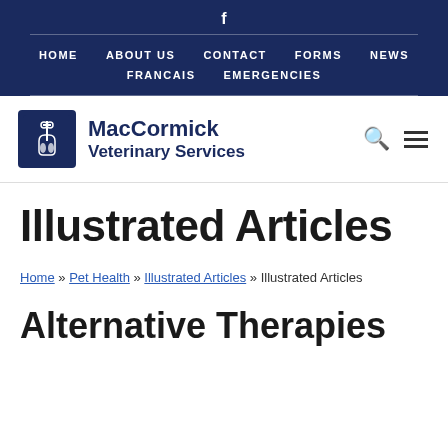f
HOME  ABOUT US  CONTACT  FORMS  NEWS  FRANCAIS  EMERGENCIES
[Figure (logo): MacCormick Veterinary Services logo with dark blue square icon showing animals and caduceus symbol, followed by text MacCormick Veterinary Services]
Illustrated Articles
Home » Pet Health » Illustrated Articles » Illustrated Articles
Alternative Therapies